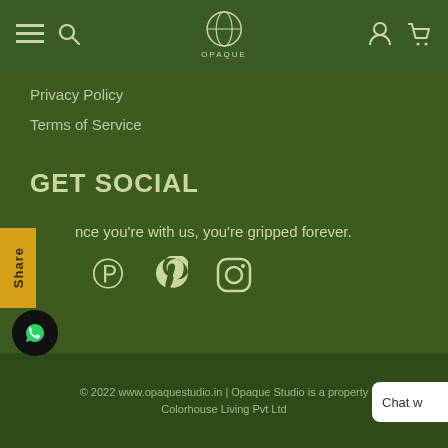Opaque Studio navigation bar with hamburger menu, search, logo, account, and cart icons
Privacy Policy
Terms of Service
GET SOCIAL
nce you're with us, you're gripped forever.
[Figure (other): Pinterest and Instagram social media icons in white on dark green background]
© 2022 www.opaquestudio.in | Opaque Studio is a property Colorhouse Living Pvt Ltd